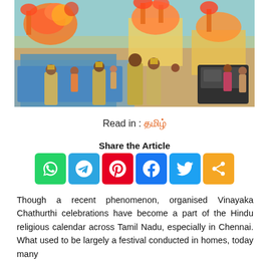[Figure (photo): A colorful Vinayaka Chathurthi procession on a street with decorated floats carrying Ganesha idols, saffron flags, balloons, and a crowd of people including police officers managing the event.]
Read in : தமிழ்
Share the Article
[Figure (infographic): Social media share buttons: WhatsApp (green), Telegram (blue), Pinterest (red), Facebook (blue), Twitter (light blue), Share (orange)]
Though a recent phenomenon, organised Vinayaka Chathurthi celebrations have become a part of the Hindu religious calendar across Tamil Nadu, especially in Chennai. What used to be largely a festival conducted in homes, today many